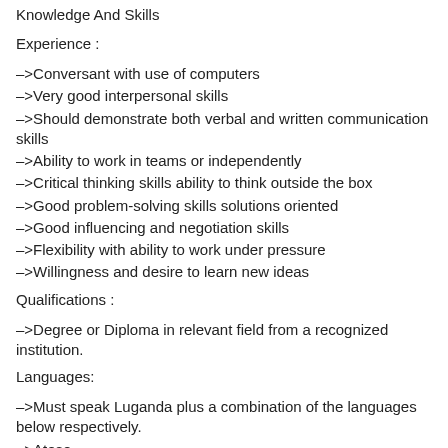Knowledge And Skills
Experience :
–>Conversant with use of computers
–>Very good interpersonal skills
–>Should demonstrate both verbal and written communication skills
–>Ability to work in teams or independently
–>Critical thinking skills ability to think outside the box
–>Good problem-solving skills solutions oriented
–>Good influencing and negotiation skills
–>Flexibility with ability to work under pressure
–>Willingness and desire to learn new ideas
Qualifications :
–>Degree or Diploma in relevant field from a recognized institution.
Languages:
–>Must speak Luganda plus a combination of the languages below respectively.
–>Ateso